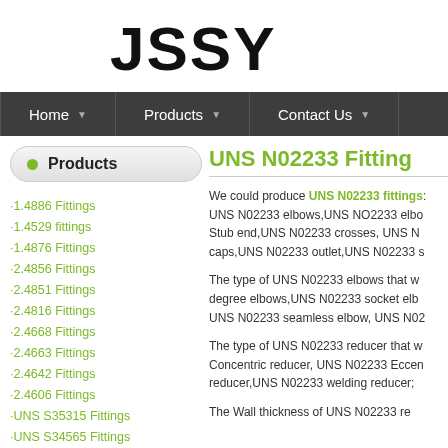JSSY
Home | Products | Contact Us
Products
·1.4886 Fittings
·1.4529 fittings
·1.4876 Fittings
·2.4856 Fittings
·2.4851 Fittings
·2.4816 Fittings
·2.4668 Fittings
·2.4663 Fittings
·2.4642 Fittings
·2.4606 Fittings
·UNS S35315 Fittings
·UNS S34565 Fittings
·UNS S32654 Fittings
·UNS S32550 Fittings
UNS N02233 Fittings
We could produce UNS N02233 fittings: UNS N02233 elbows,UNS NO2233 elbows, Stub end,UNS N02233 crosses, UNS N... caps,UNS N02233 outlet,UNS N02233 s...
The type of UNS N02233 elbows that w... degree elbows,UNS N02233 socket elb... UNS N02233 seamless elbow, UNS N02...
The type of UNS N02233 reducer that w... Concentric reducer, UNS N02233 Eccen... reducer,UNS N02233 welding reducer;
The Wall thickness of UNS N02233 re...